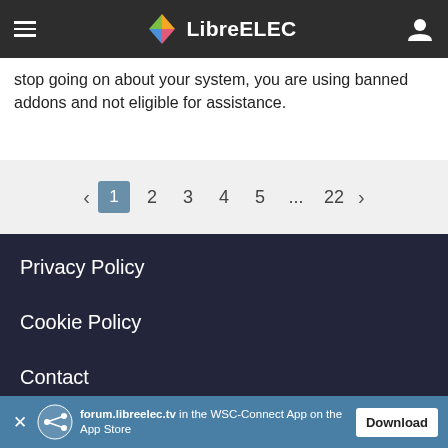LibreELEC
stop going on about your system, you are using banned addons and not eligible for assistance.
< 1 2 3 4 5 ... 22 >
Privacy Policy
Cookie Policy
Contact
forum.libreelec.tv in the WSC-Connect App on the App Store  Download